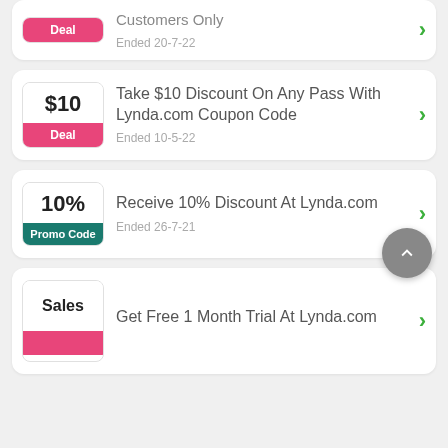[Figure (screenshot): Partial coupon card showing 'Customers Only' deal badge with pink Deal label, ended 20-7-22]
Take $10 Discount On Any Pass With Lynda.com Coupon Code
Ended 10-5-22
Receive 10% Discount At Lynda.com
Ended 26-7-21
Get Free 1 Month Trial At Lynda.com